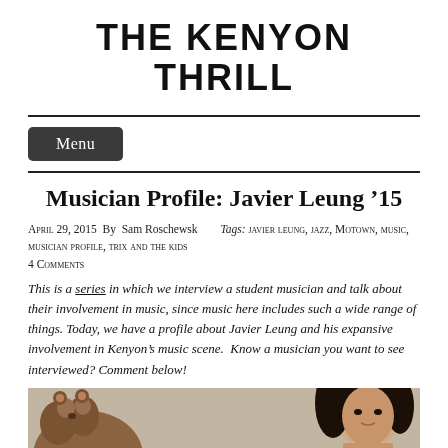THE KENYON THRILL
Menu
Musician Profile: Javier Leung '15
April 29, 2015  By  Sam Roschewsk    Tags: javier leung, jazz, Motown, music, musician profile, trix and the kids 4 Comments
This is a series in which we interview a student musician and talk about their involvement in music, since music here includes such a wide range of things. Today, we have a profile about Javier Leung and his expansive involvement in Kenyon's music scene.  Know a musician you want to see interviewed? Comment below!
[Figure (photo): Photo strip showing two subjects at the bottom of the page: a brown stuffed animal or figure on the left side, and a person with dark hair on the right side, against a neutral background.]